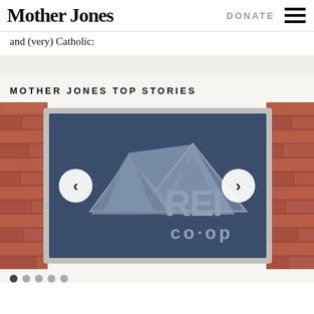Mother Jones | DONATE [menu]
and (very) Catholic:
MOTHER JONES TOP STORIES
[Figure (photo): REI co-op logo sign mounted on a brick wall, navy blue background with silver metallic lettering showing the REI co·op logo with mountain and tree graphic. Carousel with left/right navigation arrows.]
Carousel navigation dots